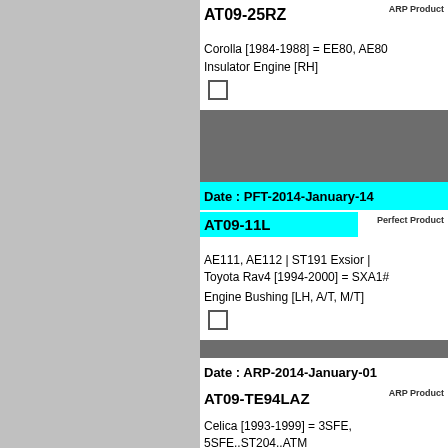ARP Product
AT09-25RZ
Corolla [1984-1988] = EE80, AE80
Insulator Engine  [RH]
Date : PFT-2014-January-14
Perfect Product
AT09-11L
AE111, AE112 | ST191 Exsior | Toyota Rav4 [1994-2000] = SXA1#
Engine Bushing  [LH, A/T, M/T]
Date : ARP-2014-January-01
ARP Product
AT09-TE94LAZ
Celica [1993-1999] = 3SFE, 5SFE..ST204..ATM
Insulator Engine  [LH, A/T]